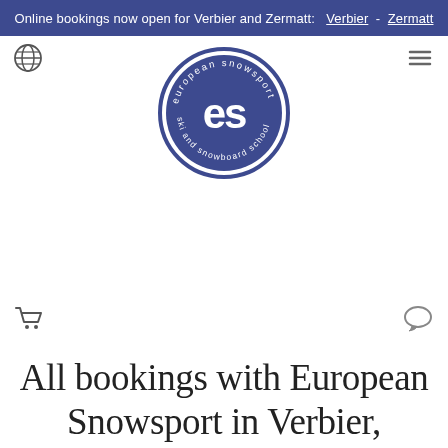Online bookings now open for Verbier and Zermatt:  Verbier  -  Zermatt
[Figure (logo): European Snowsport ski and snowboard school circular logo with 'es' initials on dark blue background]
All bookings with European Snowsport in Verbier, Zermatt, St...